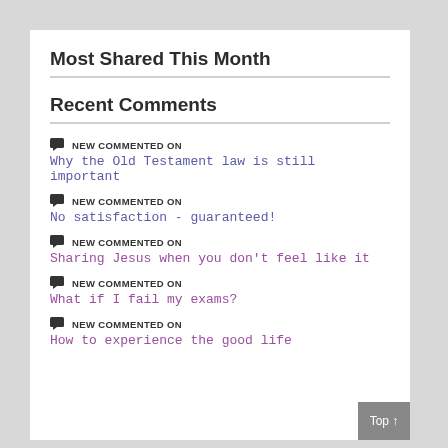Most Shared This Month
Recent Comments
NEW COMMENTED ON
Why the Old Testament law is still important
NEW COMMENTED ON
No satisfaction - guaranteed!
NEW COMMENTED ON
Sharing Jesus when you don't feel like it
NEW COMMENTED ON
What if I fail my exams?
NEW COMMENTED ON
How to experience the good life